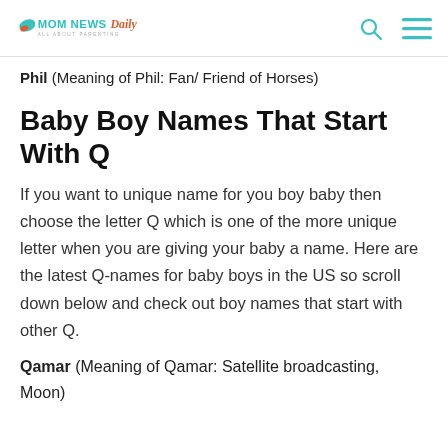MOM NEWS Daily — ALL ABOUT PARENTING
Phil (Meaning of Phil: Fan/ Friend of Horses)
Baby Boy Names That Start With Q
If you want to unique name for you boy baby then choose the letter Q which is one of the more unique letter when you are giving your baby a name. Here are the latest Q-names for baby boys in the US so scroll down below and check out boy names that start with other Q.
Qamar (Meaning of Qamar: Satellite broadcasting, Moon)